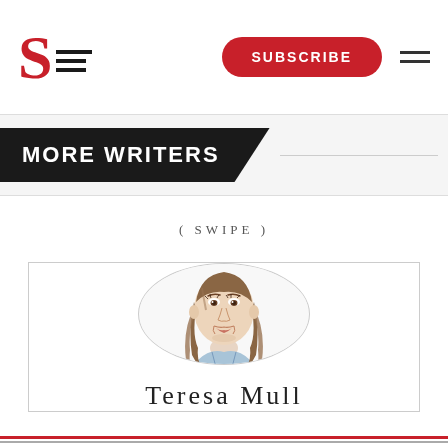S (logo with lines) — SUBSCRIBE button — hamburger menu
MORE WRITERS
( SWIPE )
[Figure (illustration): Pencil sketch portrait of a young woman with long brown hair wearing a blue checkered collar shirt, shown in a circular frame]
Teresa Mull